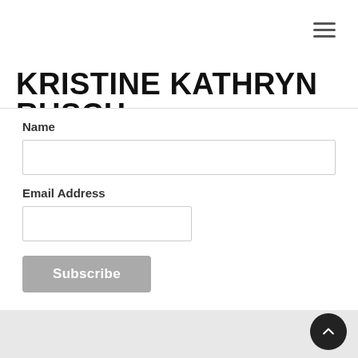KRISTINE KATHRYN RUSCH
Name
Email Address
Subscribe